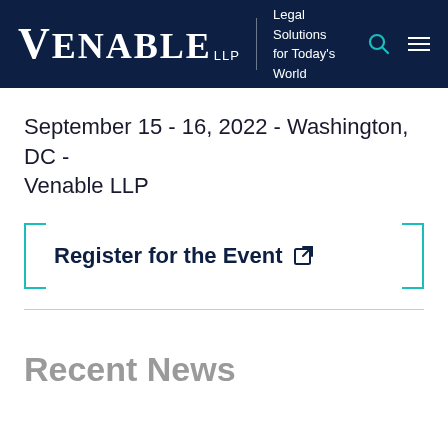VENABLE LLP — Legal Solutions for Today's World
September 15 - 16, 2022 - Washington, DC - Venable LLP
Register for the Event
Recent News